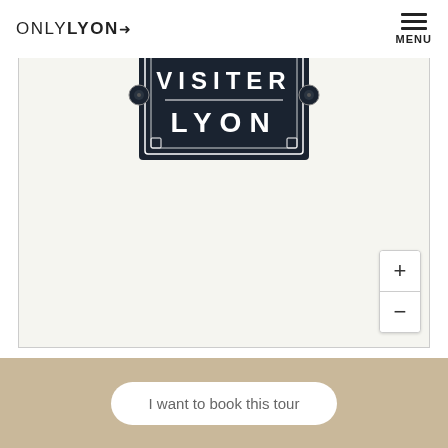[Figure (logo): ONLYLYON wordmark logo with arrow symbol]
[Figure (logo): Visiter Lyon dark plaque badge with decorative border]
[Figure (other): Interactive map area with zoom in (+) and zoom out (-) buttons]
I want to book this tour